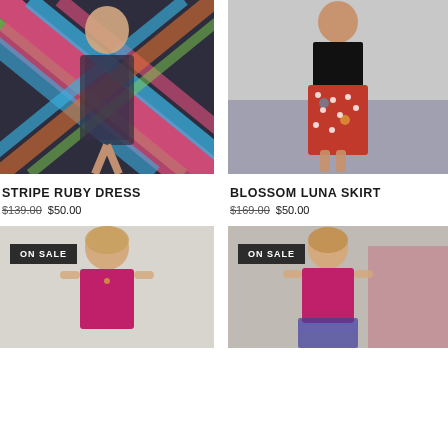[Figure (photo): Woman wearing a multicolored stripe ruby dress standing in front of a dark green door]
[Figure (photo): Woman wearing a red floral blossom luna skirt with black top, standing outdoors]
STRIPE RUBY DRESS
$139.00 $50.00
BLOSSOM LUNA SKIRT
$169.00 $50.00
[Figure (photo): Woman in a hot pink sleeveless top smiling, ON SALE badge]
[Figure (photo): Woman in a magenta sleeveless top with patterned skirt, ON SALE badge]